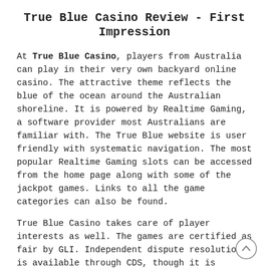True Blue Casino Review - First Impression
At True Blue Casino, players from Australia can play in their very own backyard online casino. The attractive theme reflects the blue of the ocean around the Australian shoreline. It is powered by Realtime Gaming, a software provider most Australians are familiar with. The True Blue website is user friendly with systematic navigation. The most popular Realtime Gaming slots can be accessed from the home page along with some of the jackpot games. Links to all the game categories can also be found.
True Blue Casino takes care of player interests as well. The games are certified as fair by GLI. Independent dispute resolution is available through CDS, though it is unlikely that you will need this service.